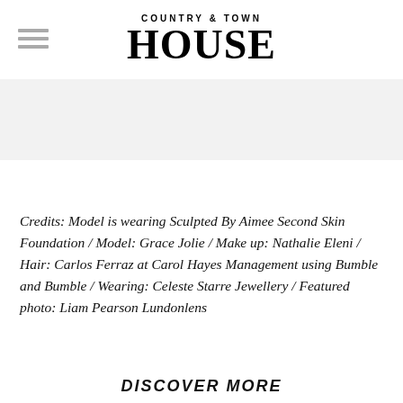COUNTRY & TOWN HOUSE
[Figure (illustration): Gray banner placeholder area below the logo header]
Credits: Model is wearing Sculpted By Aimee Second Skin Foundation / Model: Grace Jolie / Make up: Nathalie Eleni / Hair: Carlos Ferraz at Carol Hayes Management using Bumble and Bumble / Wearing: Celeste Starre Jewellery / Featured photo: Liam Pearson Lundonlens
DISCOVER MORE